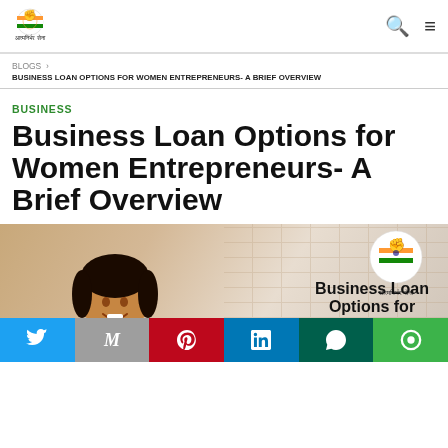[Figure (logo): Aatmanirbhar Sena logo with Indian flag fist emblem and Hindi text आत्मनिर्भर सेना]
BLOGS › BUSINESS LOAN OPTIONS FOR WOMEN ENTREPRENEURS- A BRIEF OVERVIEW
BUSINESS
Business Loan Options for Women Entrepreneurs- A Brief Overview
[Figure (photo): Photo of a young Indian woman smiling, seated at a desk, with brick wall background. Overlaid logo and partial title text 'Business Loan Options for' on right side.]
Social share bar with Twitter, Gmail, Pinterest, LinkedIn, WhatsApp, LINE buttons